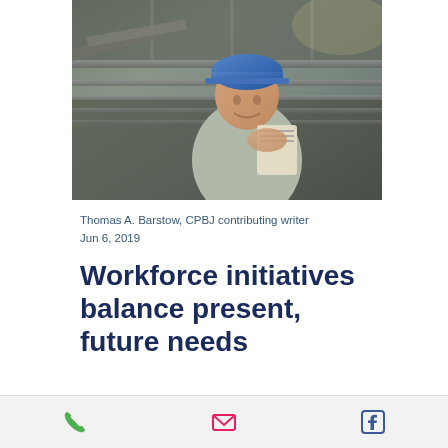[Figure (photo): Woman wearing a blue hard hat and safety vest holding a clipboard in an industrial/factory setting, smiling at the camera. Background shows steel beams and warehouse interior.]
Thomas A. Barstow, CPBJ contributing writer
Jun 6, 2019
Workforce initiatives balance present, future needs
The strong economy has been making
[phone icon] [email icon] [facebook icon]